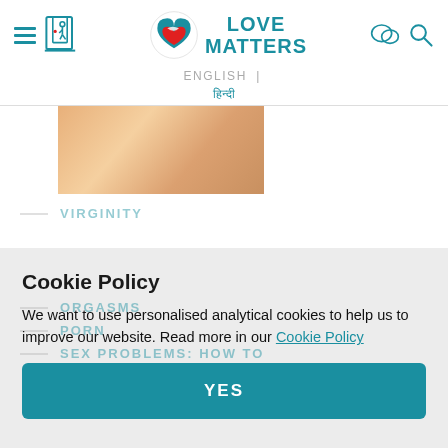Love Matters — ENGLISH | हिन्दी
[Figure (screenshot): Partial photo of fabric/cloth in peach/skin tones]
VIRGINITY
ORGASMS
PORN
SEX PROBLEMS: HOW TO
Cookie Policy
We want to use personalised analytical cookies to help us to improve our website. Read more in our Cookie Policy
YES